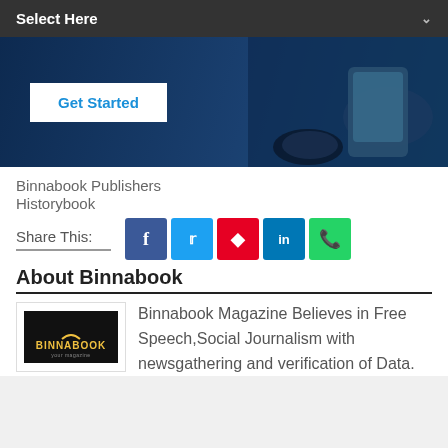[Figure (screenshot): Dark dropdown bar with 'Select Here' text and chevron]
[Figure (photo): Dark blue banner with 'Get Started' button and office items (phone, glasses) in background]
Binnabook Publishers
Historybook
Share This:
About Binnabook
[Figure (logo): Binnabook logo: black background with yellow text BINNABOOK]
Binnabook Magazine Believes in Free Speech,Social Journalism with newsgathering and verification of Data.